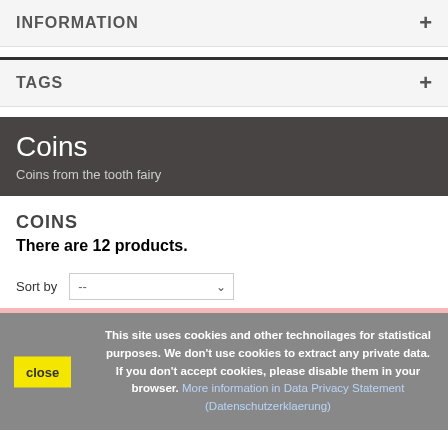INFORMATION
TAGS
Coins
Coins from the tooth fairy
COINS
There are 12 products.
Sort by  --
This site uses cookies and other technoilages for statistical purposes. We don't use cookies to extract any private data. If you don't accept cookies, please disable them in your browser. More information in Data Privacy Statement (Datenschutzerklaerung)